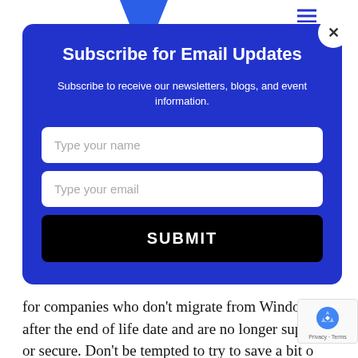Subscribe for Email Updates
Subscribe to receive our newsletters, blogs, and event information.
Type your name
Type your email
SUBMIT
for companies who don’t migrate from Windows 7 after the end of life date and are no longer supported or secure. Don’t be tempted to try to save a bit of money and be at risk for a situation that is preventable... because it could end up costing an